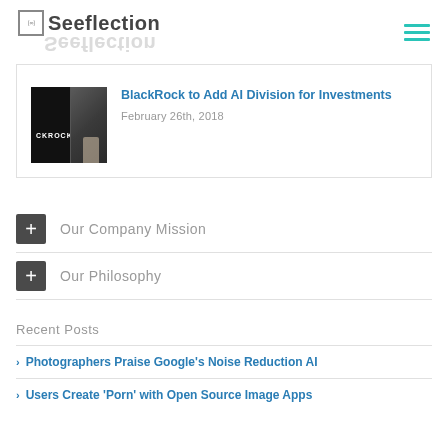Seeflection
[Figure (screenshot): Article card with BlackRock image showing a person in a dark suit beside a BlackRock logo on dark background]
BlackRock to Add AI Division for Investments
February 26th, 2018
Our Company Mission
Our Philosophy
Recent Posts
Photographers Praise Google's Noise Reduction AI
Users Create 'Porn' with Open Source Image Apps